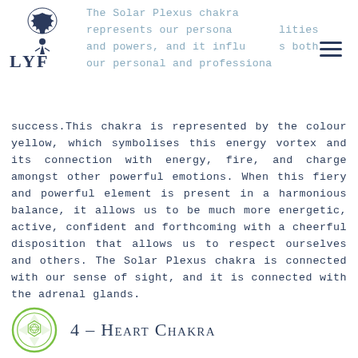The Solar Plexus chakra represents our personal abilities and powers, and it influences both our personal and professional
success.This chakra is represented by the colour yellow, which symbolises this energy vortex and its connection with energy, fire, and charge amongst other powerful emotions. When this fiery and powerful element is present in a harmonious balance, it allows us to be much more energetic, active, confident and forthcoming with a cheerful disposition that allows us to respect ourselves and others. The Solar Plexus chakra is connected with our sense of sight, and it is connected with the adrenal glands.
4 – Heart Chakra